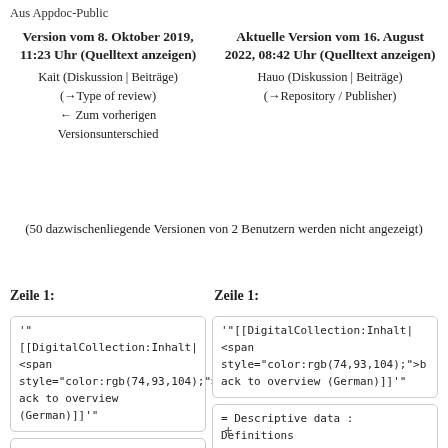Aus Appdoc-Public
Version vom 8. Oktober 2019, 11:23 Uhr (Quelltext anzeigen)
Kait (Diskussion | Beiträge)
(→Type of review)
← Zum vorherigen Versionsunterschied
Aktuelle Version vom 16. August 2022, 08:42 Uhr (Quelltext anzeigen)
Hauo (Diskussion | Beiträge)
(→Repository / Publisher)
(50 dazwischenliegende Versionen von 2 Benutzern werden nicht angezeigt)
Zeile 1:
Zeile 1:
'"[[DigitalCollection:Inhalt|
<span
style="color:rgb(74,93,104);">b
ack to overview (German)]]'"
= Descriptive data : Definitions
and examples =
'"[[DigitalCollection:Inhalt|
<span
style="color:rgb(74,93,104);">b
ack to overview (German)]]'"
= Descriptive data : Definitions
and examples =